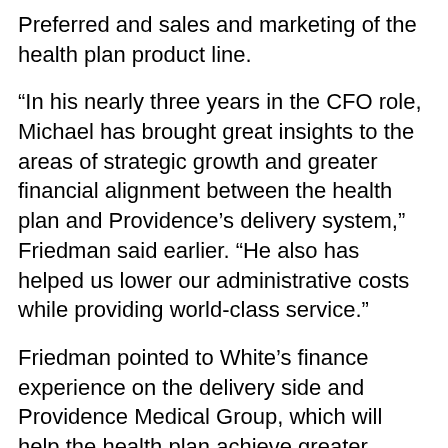Preferred and sales and marketing of the health plan product line.
“In his nearly three years in the CFO role, Michael has brought great insights to the areas of strategic growth and greater financial alignment between the health plan and Providence’s delivery system,” Friedman said earlier. “He also has helped us lower our administrative costs while providing world-class service.”
Friedman pointed to White’s finance experience on the delivery side and Providence Medical Group, which will help the health plan achieve greater levels of performance as an integrated system.